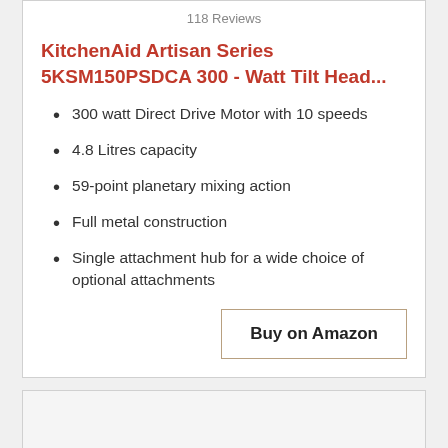118 Reviews
KitchenAid Artisan Series 5KSM150PSDCA 300 - Watt Tilt Head...
300 watt Direct Drive Motor with 10 speeds
4.8 Litres capacity
59-point planetary mixing action
Full metal construction
Single attachment hub for a wide choice of optional attachments
Buy on Amazon